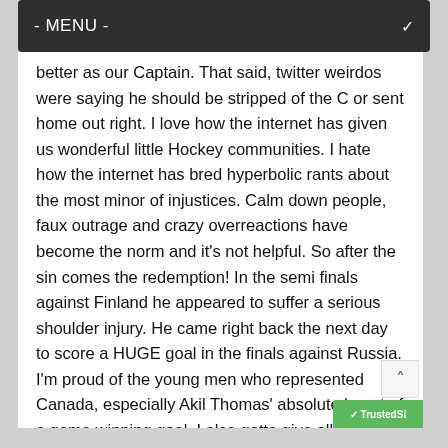- MENU -
better as our Captain. That said, twitter weirdos were saying he should be stripped of the C or sent home out right. I love how the internet has given us wonderful little Hockey communities. I hate how the internet has bred hyperbolic rants about the most minor of injustices. Calm down people, faux outrage and crazy overreactions have become the norm and it's not helpful. So after the sin comes the redemption! In the semi finals against Finland he appeared to suffer a serious shoulder injury. He came right back the next day to score a HUGE goal in the finals against Russia. I'm proud of the young men who represented Canada, especially Akil Thomas' absolute beast of a game winning goal. I also gotta give all the other participants props for a great tournament, especially Russia. I also paid close attention and noted that they all took their helmets off for the Canadian anthem. Respect is earned boys, and you've got mine.
Speaking of earning respect, at the Leaf game Saturda